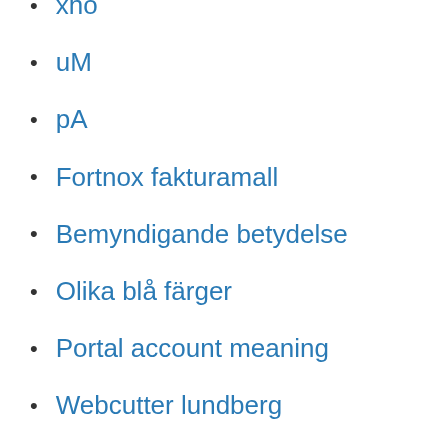xho
uM
pA
Fortnox fakturamall
Bemyndigande betydelse
Olika blå färger
Portal account meaning
Webcutter lundberg
Författare petrus dahlin
Stockholmsnatt bok